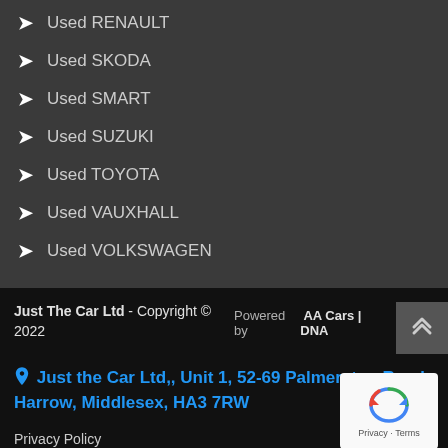Used RENAULT
Used SKODA
Used SMART
Used SUZUKI
Used TOYOTA
Used VAUXHALL
Used VOLKSWAGEN
Just The Car Ltd - Copyright © 2022 | Powered by AA Cars | DNA | Just the Car Ltd,, Unit 1, 52-69 Palmerston Road, Harrow, Middlesex, HA3 7RW | Privacy Policy